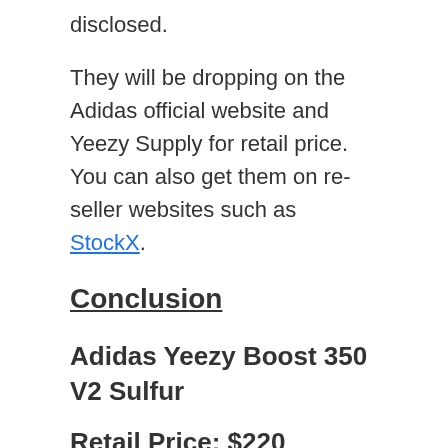disclosed.
They will be dropping on the Adidas official website and Yeezy Supply for retail price. You can also get them on re-seller websites such as StockX.
Conclusion
Adidas Yeezy Boost 350 V2 Sulfur
Retail Price: $220
Release Date: 05/09/2020